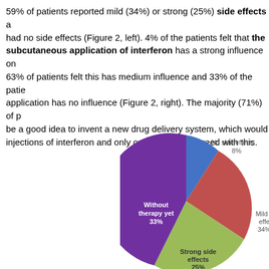59% of patients reported mild (34%) or strong (25%) side effects and 8% had no side effects (Figure 2, left). 4% of the patients felt that the subcutaneous application of interferon has a strong influence on ... 63% of patients felt this has medium influence and 33% of the patients felt application has no influence (Figure 2, right). The majority (71%) of patients thought it be a good idea to invent a new drug delivery system, which would replace the injections of interferon and only one patient disagreed with this.
[Figure (pie-chart): Side effects (Figure 2, left)]